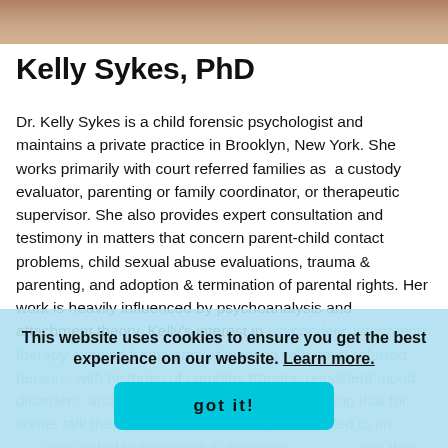[Figure (photo): Partial photo of a person, cropped at top, showing clothing — top bar of a profile photo]
Kelly Sykes, PhD
Dr. Kelly Sykes is a child forensic psychologist and maintains a private practice in Brooklyn, New York. She works primarily with court referred families as a custody evaluator, parenting or family coordinator, or therapeutic supervisor. She also provides expert consultation and testimony in matters that concern parent-child contact problems, child sexual abuse evaluations, trauma & parenting, and adoption & termination of parental rights. Her work is heavily influenced by psychoanalysis and attachment theory. Kelly's interest in psychedelic integration therapy evolved from years of working with court referred persons with histories of complex trauma, persistent mood disorders, and substance abuse problems, noting that for some, talk therapies helped with insight but failed to improve behavior or led to meaningful change sufficient to allow them to parent their children. This sparked her interest in learning more about the role the brain plays in the chronicity of certain psychological
This website uses cookies to ensure you get the best experience on our website. Learn more.
got it!